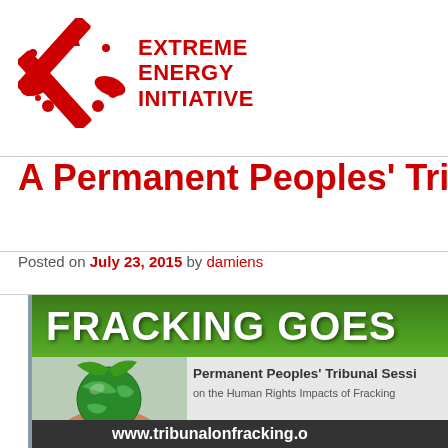[Figure (logo): Extreme Energy Initiative logo — red X shape with oil derrick and wing motifs, with bold red text 'EXTREME ENERGY INITIATIVE']
A Permanent Peoples' Tribunal o
Posted on July 23, 2015 by damiens
[Figure (screenshot): Banner image for 'FRACKING GOES ON TRIAL' showing green header bar with white bold text 'FRACKING GOES', below which are hands holding a green globe and text 'Permanent Peoples' Tribunal Session on the Human Rights Impacts of Fracking', and a dark footer bar with 'www.tribunalonfracking.o']